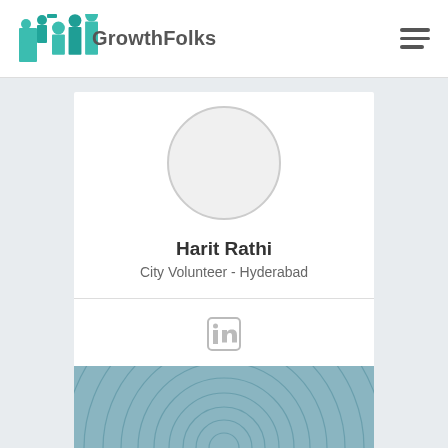[Figure (logo): GrowthFolks logo with teal icon of people and text 'GrowthFolks']
[Figure (photo): Profile avatar placeholder circle]
Harit Rathi
City Volunteer - Hyderabad
[Figure (illustration): LinkedIn icon in gray]
[Figure (illustration): Bottom decorative strip with concentric circle pattern in steel blue]